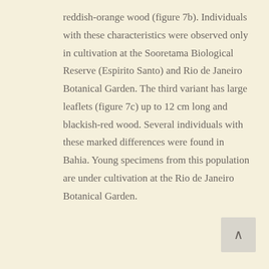reddish-orange wood (figure 7b). Individuals with these characteristics were observed only in cultivation at the Sooretama Biological Reserve (Espirito Santo) and Rio de Janeiro Botanical Garden. The third variant has large leaflets (figure 7c) up to 12 cm long and blackish-red wood. Several individuals with these marked differences were found in Bahia. Young specimens from this population are under cultivation at the Rio de Janeiro Botanical Garden.